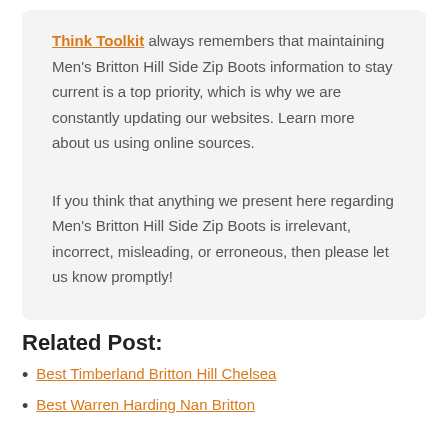Think Toolkit always remembers that maintaining Men's Britton Hill Side Zip Boots information to stay current is a top priority, which is why we are constantly updating our websites. Learn more about us using online sources.
If you think that anything we present here regarding Men's Britton Hill Side Zip Boots is irrelevant, incorrect, misleading, or erroneous, then please let us know promptly!
Related Post:
Best Timberland Britton Hill Chelsea
Best Warren Harding Nan Britton